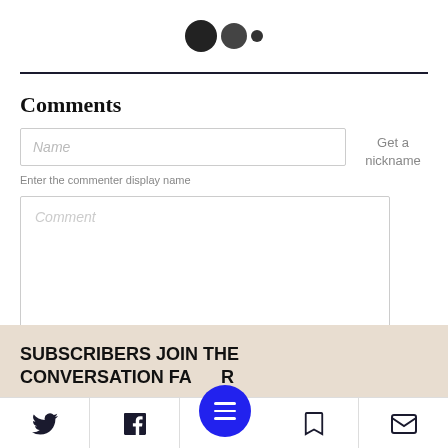Logo dots (Flickr-style logo)
Comments
Name
Get a nickname
Enter the commenter display name
Comment
SUBSCRIBERS JOIN THE CONVERSATION FASTER
Twitter | Facebook | Menu | Bookmark | Mail